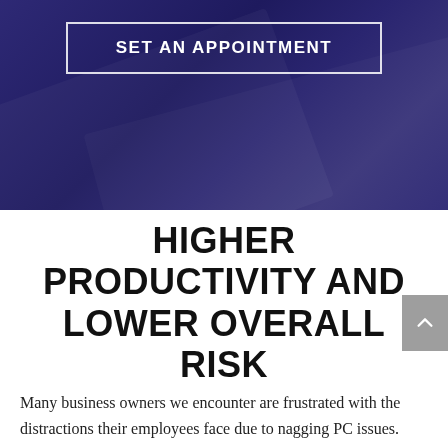[Figure (illustration): Dark navy blue banner background with diagonal light reflections, containing a bordered button labeled SET AN APPOINTMENT]
HIGHER PRODUCTIVITY AND LOWER OVERALL RISK
Many business owners we encounter are frustrated with the distractions their employees face due to nagging PC issues. There never seems to be an end to the problems. Some have even experienced major business